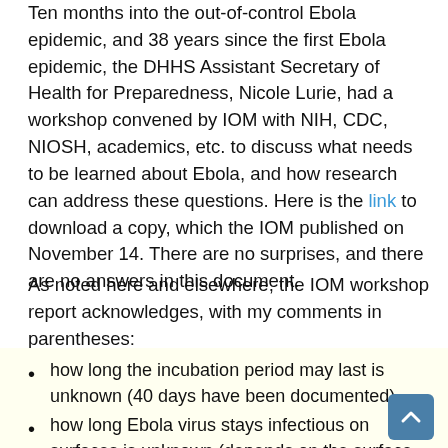Ten months into the out-of-control Ebola epidemic, and 38 years since the first Ebola epidemic, the DHHS Assistant Secretary of Health for Preparedness, Nicole Lurie, had a workshop convened by IOM with NIH, CDC, NIOSH, academics, etc. to discuss what needs to be learned about Ebola, and how research can address these questions. Here is the link to download a copy, which the IOM published on November 14. There are no surprises, and there are no answers in this document.
As noted here and elsewhere, the IOM workshop report acknowledges, with my comments in parentheses:
how long the incubation period may last is unknown (40 days have been documented)
how long Ebola virus stays infectious on surfaces is unknown (depends on the surface and ambient conditions but days would not be unusual)
how to effectively kill it is unclear (the time during